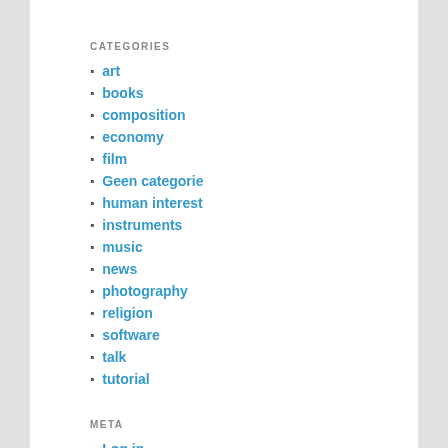CATEGORIES
art
books
composition
economy
film
Geen categorie
human interest
instruments
music
news
photography
religion
software
talk
tutorial
META
Log in
Entries feed